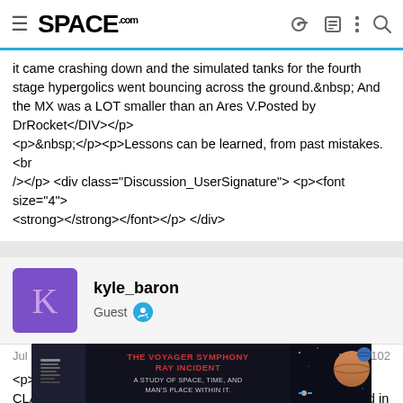SPACE.com
it came crashing down and the simulated tanks for the fourth stage hypergolics went bouncing across the ground.  And the MX was a LOT smaller than an Ares V.Posted by DrRocket</DIV></p><p>&nbsp;</p><p>Lessons can be learned, from past mistakes.<br /></p> <div class="Discussion_UserSignature"> <p><font size="4"> <strong></strong></font></p> </div>
[Figure (photo): User avatar for kyle_baron, purple square with letter K]
kyle_baron
Guest
Jul 11, 2008    #102
<p><BR/>Replying to:<BR/><DIV CLASS='Discussion_PostQuote'>If the segments were housed in a single piece tube they could be rotated. <br />Posted by scottb50</DIV></p><p>&nbsp;</p><p>I agree &nbsp;then: The tube could be a composite, located in the center of
[Figure (photo): Advertisement banner: The Voyager Symphony Ray Incident - A Study of Space, Time, and Man's Place Within It.]